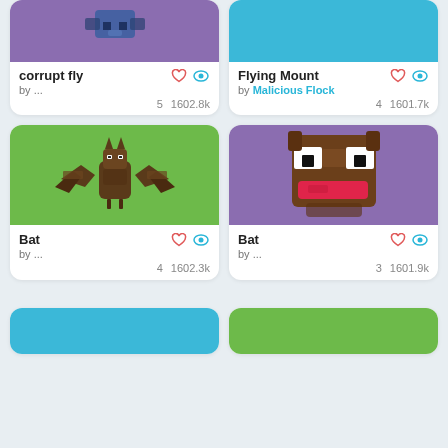[Figure (screenshot): Partial top of card: corrupt fly item on purple background]
[Figure (screenshot): Partial top of card: Flying Mount item on blue background]
corrupt fly
by ...
5  1602.8k
Flying Mount
by Malicious Flock
4  1601.7k
[Figure (illustration): Pixel-art bat with wings spread on green background]
[Figure (illustration): Pixel-art bat head (brown block face with white eyes and red mouth) on purple background]
Bat
by ...
4  1602.3k
Bat
by ...
3  1601.9k
[Figure (screenshot): Partial bottom card on blue background]
[Figure (screenshot): Partial bottom card on green background]